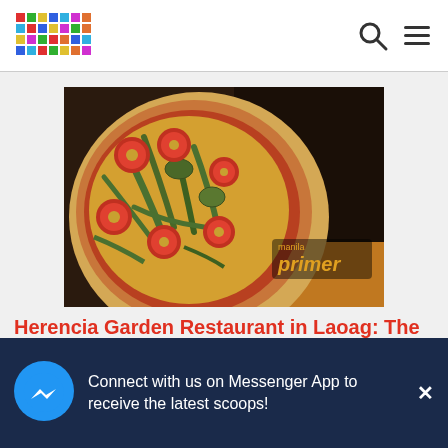primer
[Figure (photo): Close-up photo of a vegetarian pizza with tomatoes, asparagus, zucchini, and melted cheese on a crust, with a 'primer' watermark in the lower right corner.]
Herencia Garden Restaurant in Laoag: The Second Home of the
Connect with us on Messenger App to receive the latest scoops!